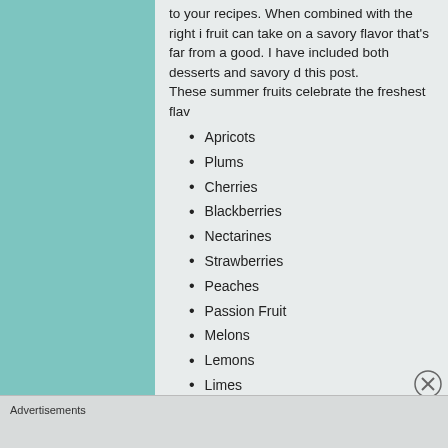to your recipes. When combined with the right i fruit can take on a savory flavor that's far from a good. I have included both desserts and savory d this post. These summer fruits celebrate the freshest flav
Apricots
Plums
Cherries
Blackberries
Nectarines
Strawberries
Peaches
Passion Fruit
Melons
Lemons
Limes
Advertisements